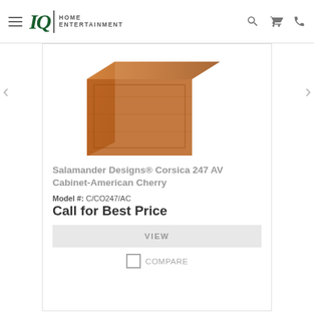IQ HOME ENTERTAINMENT
[Figure (photo): Partial view of a wooden AV cabinet (American Cherry finish) — top portion visible, cropped]
Salamander Designs® Corsica 247 AV Cabinet-American Cherry
Model #: C/CO247/AC
Call for Best Price
VIEW
COMPARE